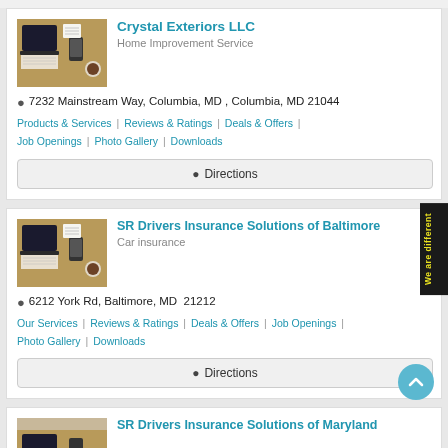[Figure (screenshot): Business listing card for Crystal Exteriors LLC showing a photo of a laptop on a wooden desk]
Crystal Exteriors LLC
Home Improvement Service
7232 Mainstream Way, Columbia, MD , Columbia, MD 21044
Products & Services | Reviews & Ratings | Deals & Offers | Job Openings | Photo Gallery | Downloads
Directions
[Figure (screenshot): Business listing card for SR Drivers Insurance Solutions of Baltimore showing a photo of a laptop on a wooden desk]
SR Drivers Insurance Solutions of Baltimore
Car insurance
6212 York Rd, Baltimore, MD  21212
Our Services | Reviews & Ratings | Deals & Offers | Job Openings | Photo Gallery | Downloads
Directions
[Figure (screenshot): Partial business listing card for SR Drivers Insurance Solutions of Maryland]